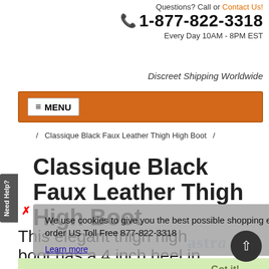Questions? Call or Contact Us! 1-877-822-3318 Every Day 10AM - 8PM EST
Discreet Shipping Worldwide
≡ MENU
Need Help?
/ Classique Black Faux Leather Thigh High Boot /
Classique Black Faux Leather Thigh High Boot
This elegant thigh high boot has a 4 inch heel in shiny black patent.
We use cookies to give you the best possible shopping experience. Don't want them? Call in your order US Toll Free 877-822-3318
Learn more
Got it!